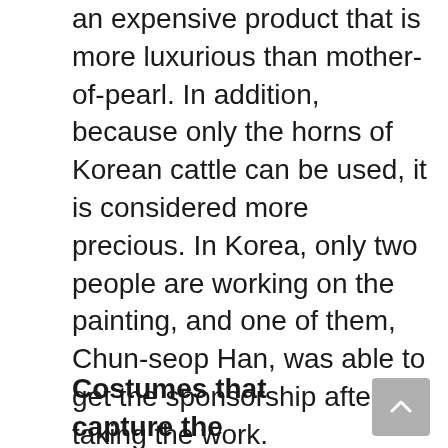an expensive product that is more luxurious than mother-of-pearl. In addition, because only the horns of Korean cattle can be used, it is considered more precious. In Korea, only two people are working on the painting, and one of them, Chun-seop Han, was able to get the sponsorship after taking the work. The pleasure of finding hidden cultural assets in the movie will be another highlight of watching the movie <Beautiful Island>. The movie <Beautiful Island>, where you can see the paintings of Shin Yun-bok and Kim Hong-do, as well as cultural assets, will become a moving museum and visit the audience.
Costumes that capture the emotions of the characters!